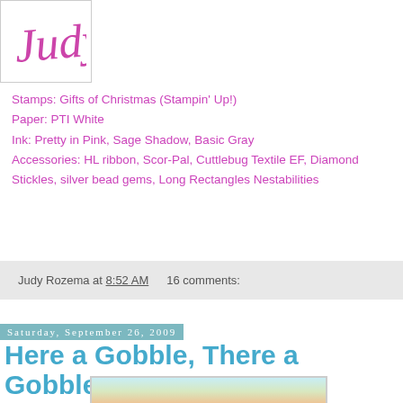[Figure (logo): Handwritten-style cursive logo reading 'Judy' in pink/purple script]
Stamps: Gifts of Christmas (Stampin' Up!)
Paper: PTI White
Ink: Pretty in Pink, Sage Shadow, Basic Gray
Accessories: HL ribbon, Scor-Pal, Cuttlebug Textile EF, Diamond Stickles, silver bead gems, Long Rectangles Nestabilities
Judy Rozema at 8:52 AM   16 comments:
Saturday, September 26, 2009
Here a Gobble, There a Gobble!
[Figure (photo): Photo of a crafted card with colorful stamped design, orange ribbon, on white fluffy background]